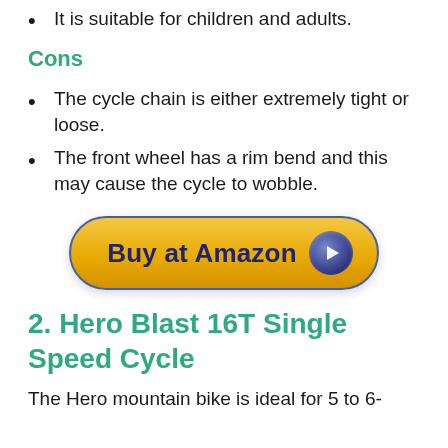It is suitable for children and adults.
Cons
The cycle chain is either extremely tight or loose.
The front wheel has a rim bend and this may cause the cycle to wobble.
[Figure (other): Buy at Amazon button — yellow pill-shaped button with dark blue border and play arrow icon]
2. Hero Blast 16T Single Speed Cycle
The Hero mountain bike is ideal for 5 to 6-